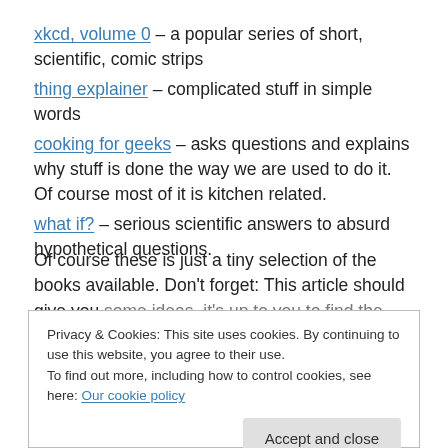xkcd, volume 0 – a popular series of short, scientific, comic strips
thing explainer – complicated stuff in simple words
cooking for geeks – asks questions and explains why stuff is done the way we are used to do it. Of course most of it is kitchen related.
what if? – serious scientific answers to absurd hypothetical questions.
Of course these is just a tiny selection of the books available. Don't forget: This article should give you some ideas, it's up to you to find the perfect gift for
Privacy & Cookies: This site uses cookies. By continuing to use this website, you agree to their use. To find out more, including how to control cookies, see here: Our cookie policy
Accept and close